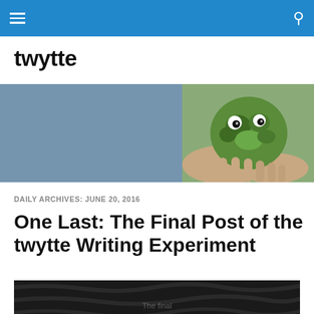twytte — navigation bar with menu and search icons
twytte
[Figure (photo): Hands holding a mossy green ball with googly eyes against a blurred grey background — hero banner image for the twytte blog]
DAILY ARCHIVES: JUNE 20, 2016
One Last: The Final Post of the twytte Writing Experiment
[Figure (photo): Dark background photo, partially visible, with faint white text that appears to read something — bottom post image]